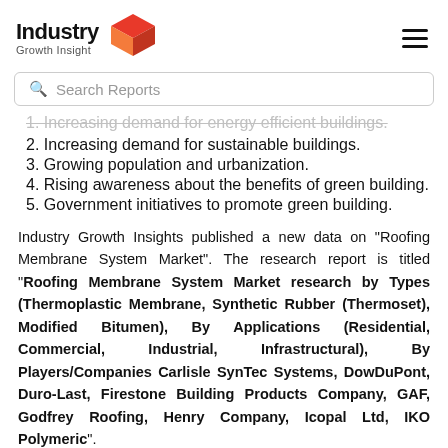[Figure (logo): Industry Growth Insight logo with text and orange 3D box icon]
Search Reports
1. Increasing demand for energy efficient buildings.
2. Increasing demand for sustainable buildings.
3. Growing population and urbanization.
4. Rising awareness about the benefits of green building.
5. Government initiatives to promote green building.
Industry Growth Insights published a new data on “Roofing Membrane System Market”. The research report is titled “Roofing Membrane System Market research by Types (Thermoplastic Membrane, Synthetic Rubber (Thermoset), Modified Bitumen), By Applications (Residential, Commercial, Industrial, Infrastructural), By Players/Companies Carlisle SynTec Systems, DowDuPont, Duro-Last, Firestone Building Products Company, GAF, Godfrey Roofing, Henry Company, Icopal Ltd, IKO Polymeric”.